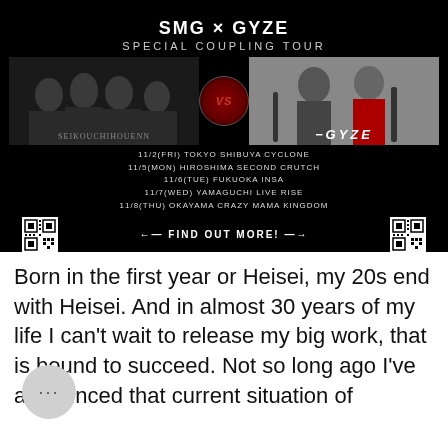[Figure (infographic): SMG × GYZE Special Coupling Tour promotional poster on black background. Shows two band photos side by side with a VS emblem in the center. Includes tour dates: 11/2(FRI) Tokyo Shibuya Cyclone, 11/5(MON) Hiroshima Second Crutch, 11/6(TUE) Fukuoka Insa, 11/7(WED) Yamaguchi Live Rise, 11/8(THU) Okayama Crazy Mama Kingdom. Two QR codes and 'FIND OUT MORE!' text at bottom.]
Born in the first year or Heisei, my 20s end with Heisei. And in almost 30 years of my life I can't wait to release my big work, that is bound to succeed. Not so long ago I've announced that current situation of